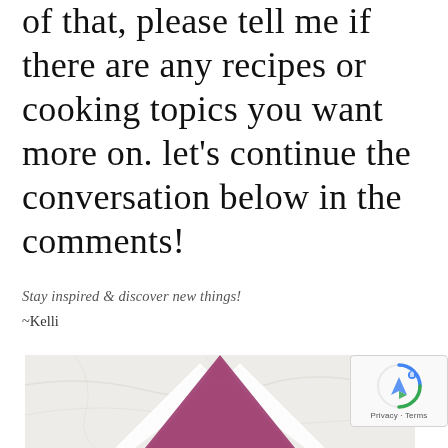of that, please tell me if there are any recipes or cooking topics you want more on. let's continue the conversation below in the comments!
Stay inspired & discover new things!
~Kelli
[Figure (illustration): Decorative image showing a marble surface with a pink/mauve chevron or arrow shape pointing upward in the center.]